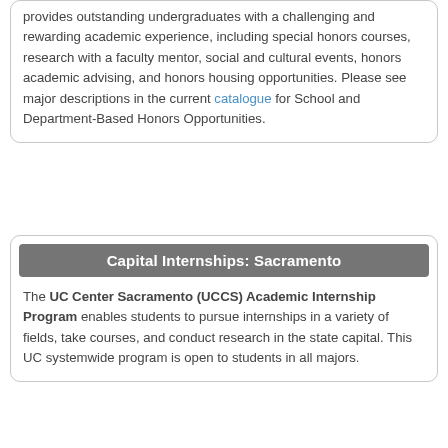provides outstanding undergraduates with a challenging and rewarding academic experience, including special honors courses, research with a faculty mentor, social and cultural events, honors academic advising, and honors housing opportunities. Please see major descriptions in the current catalogue for School and Department-Based Honors Opportunities.
Capital Internships: Sacramento
The UC Center Sacramento (UCCS) Academic Internship Program enables students to pursue internships in a variety of fields, take courses, and conduct research in the state capital. This UC systemwide program is open to students in all majors.